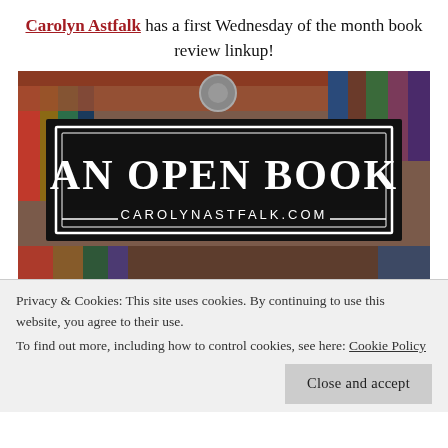Carolyn Astfalk has a first Wednesday of the month book review linkup!
[Figure (photo): An Open Book banner image with books in the background and text 'AN OPEN BOOK' in large white letters on a black rectangle, with 'CAROLYNASTFALK.COM' below it.]
Privacy & Cookies: This site uses cookies. By continuing to use this website, you agree to their use.
To find out more, including how to control cookies, see here: Cookie Policy
Close and accept